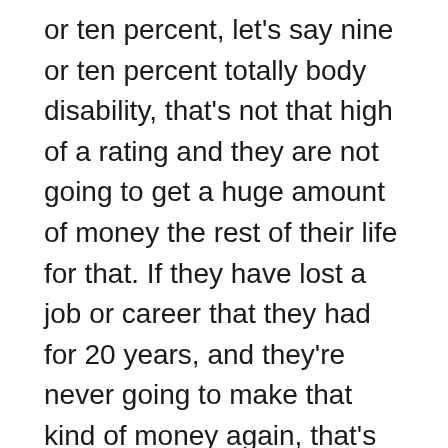or ten percent, let's say nine or ten percent totally body disability, that's not that high of a rating and they are not going to get a huge amount of money the rest of their life for that. If they have lost a job or career that they had for 20 years, and they're never going to make that kind of money again, that's something that you need a case for an employment lawyer to sue in the civil court system and so there really needs to be an evaluation of what the workers compensation injury is, whether it's permanent, whether the employee is going to be able to work within their career,